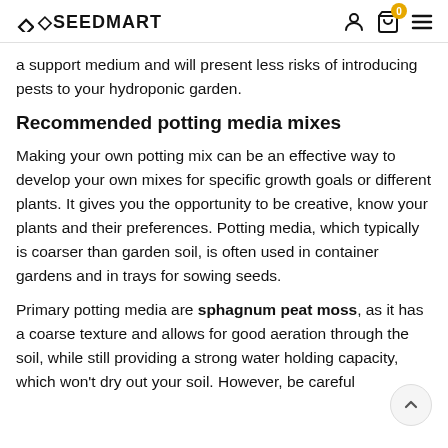SEEDMART
a support medium and will present less risks of introducing pests to your hydroponic garden.
Recommended potting media mixes
Making your own potting mix can be an effective way to develop your own mixes for specific growth goals or different plants. It gives you the opportunity to be creative, know your plants and their preferences. Potting media, which typically is coarser than garden soil, is often used in container gardens and in trays for sowing seeds.
Primary potting media are sphagnum peat moss, as it has a coarse texture and allows for good aeration through the soil, while still providing a strong water holding capacity, which won't dry out your soil. However, be careful